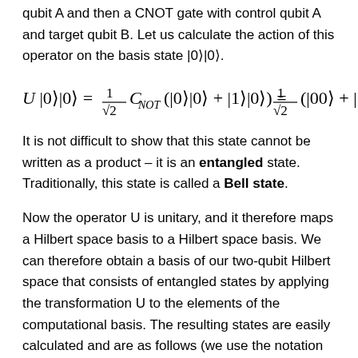qubit A and then a CNOT gate with control qubit A and target qubit B. Let us calculate the action of this operator on the basis state |0⟩|0⟩.
It is not difficult to show that this state cannot be written as a product – it is an entangled state. Traditionally, this state is called a Bell state.
Now the operator U is unitary, and it therefore maps a Hilbert space basis to a Hilbert space basis. We can therefore obtain a basis of our two-qubit Hilbert space that consists of entangled states by applying the transformation U to the elements of the computational basis. The resulting states are easily calculated and are as follows (we use the notation from [1]).